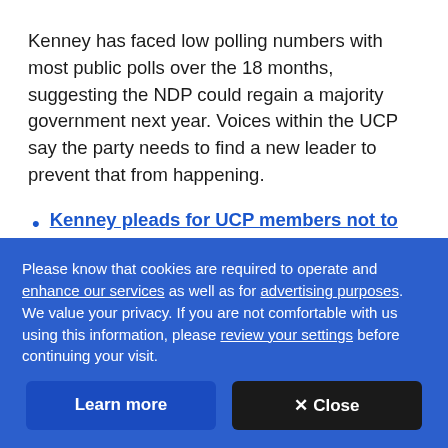Kenney has faced low polling numbers with most public polls over the 18 months, suggesting the NDP could regain a majority government next year. Voices within the UCP say the party needs to find a new leader to prevent that from happening.
Kenney pleads for UCP members not to compare him 'to the Almighty, but to the alternative'
Please know that cookies are required to operate and enhance our services as well as for advertising purposes. We value your privacy. If you are not comfortable with us using this information, please review your settings before continuing your visit.